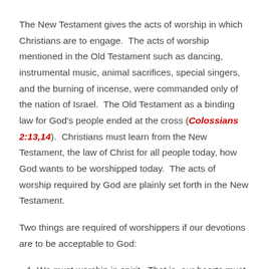The New Testament gives the acts of worship in which Christians are to engage. The acts of worship mentioned in the Old Testament such as dancing, instrumental music, animal sacrifices, special singers, and the burning of incense, were commanded only of the nation of Israel. The Old Testament as a binding law for God's people ended at the cross (Colossians 2:13,14). Christians must learn from the New Testament, the law of Christ for all people today, how God wants to be worshipped today. The acts of worship required by God are plainly set forth in the New Testament.
Two things are required of worshippers if our devotions are to be acceptable to God:
1. We must worship in spirit. That is, our hearts must be